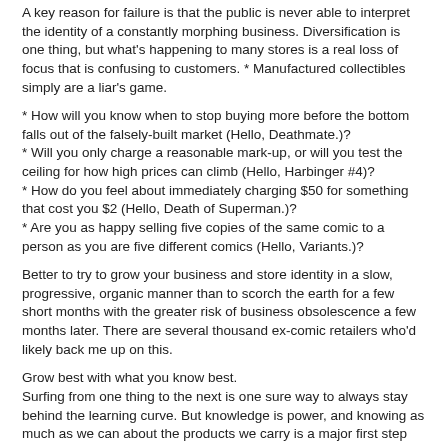A key reason for failure is that the public is never able to interpret the identity of a constantly morphing business. Diversification is one thing, but what's happening to many stores is a real loss of focus that is confusing to customers. * Manufactured collectibles simply are a liar's game.
* How will you know when to stop buying more before the bottom falls out of the falsely-built market (Hello, Deathmate.)?
* Will you only charge a reasonable mark-up, or will you test the ceiling for how high prices can climb (Hello, Harbinger #4)?
* How do you feel about immediately charging $50 for something that cost you $2 (Hello, Death of Superman.)?
* Are you as happy selling five copies of the same comic to a person as you are five different comics (Hello, Variants.)?
Better to try to grow your business and store identity in a slow, progressive, organic manner than to scorch the earth for a few short months with the greater risk of business obsolescence a few months later. There are several thousand ex-comic retailers who'd likely back me up on this.
Grow best with what you know best.
Surfing from one thing to the next is one sure way to always stay behind the learning curve. But knowledge is power, and knowing as much as we can about the products we carry is a major first step toward business stability.